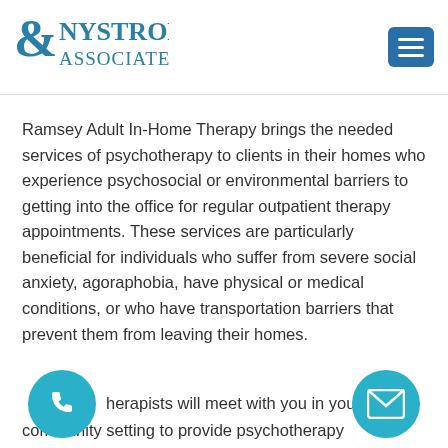[Figure (logo): Nystrom & Associates logo in blue teal color with stylized ampersand]
Ramsey Adult In-Home Therapy brings the needed services of psychotherapy to clients in their homes who experience psychosocial or environmental barriers to getting into the office for regular outpatient therapy appointments. These services are particularly beneficial for individuals who suffer from severe social anxiety, agoraphobia, have physical or medical conditions, or who have transportation barriers that prevent them from leaving their homes.
...herapists will meet with you in your hom... community setting to provide psychotherapy